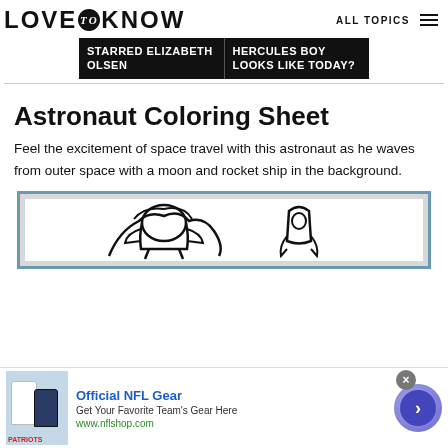LOVE to KNOW   ALL TOPICS
[Figure (screenshot): Dark banner advertisement with two columns of white uppercase text: left column 'STARRED ELIZABETH OLSEN', right column 'HERCULES BOY LOOKS LIKE TODAY?']
Astronaut Coloring Sheet
Feel the excitement of space travel with this astronaut as he waves from outer space with a moon and rocket ship in the background.
[Figure (illustration): Preview of astronaut coloring sheet showing partial black line drawing of an astronaut waving with space background elements, inside a blue-bordered frame]
[Figure (screenshot): Bottom advertisement banner for Official NFL Gear showing football jerseys, text 'Official NFL Gear', 'Get Your Favorite Team's Gear Here', 'www.nflshop.com', with close button and blue navigation arrow]